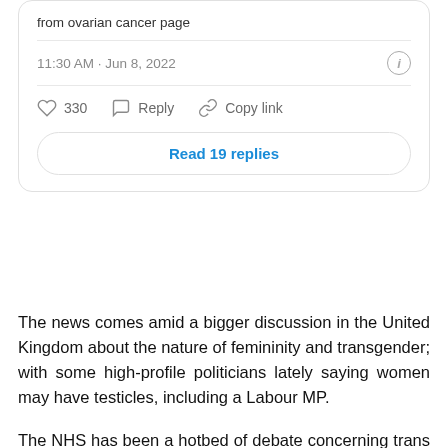[Figure (screenshot): Screenshot of a tweet/social media post showing text 'from ovarian cancer page', timestamp '11:30 AM · Jun 8, 2022', like count 330, Reply and Copy link actions, and a 'Read 19 replies' button]
The news comes amid a bigger discussion in the United Kingdom about the nature of femininity and transgender; with some high-profile politicians lately saying women may have testicles, including a Labour MP.
The NHS has been a hotbed of debate concerning trans problems, with the ostensibly impartial government institution being chastised